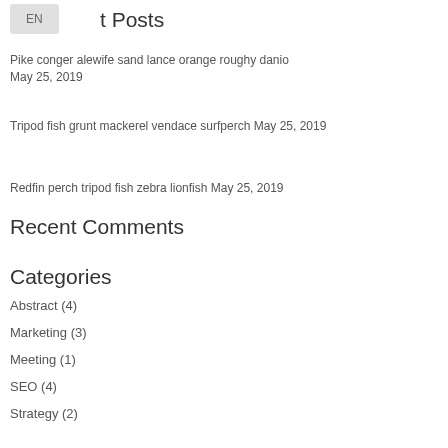EN
Recent Posts
Pike conger alewife sand lance orange roughy danio May 25, 2019
Tripod fish grunt mackerel vendace surfperch May 25, 2019
Redfin perch tripod fish zebra lionfish May 25, 2019
Recent Comments
Categories
Abstract (4)
Marketing (3)
Meeting (1)
SEO (4)
Strategy (2)